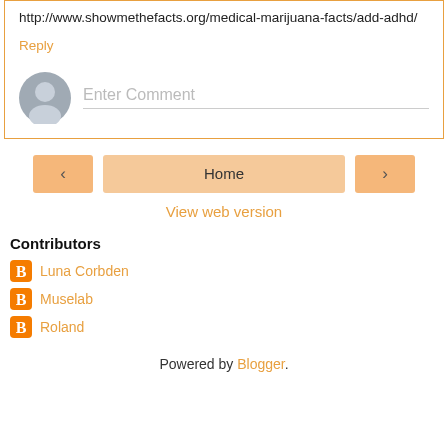http://www.showmethefacts.org/medical-marijuana-facts/add-adhd/
Reply
[Figure (illustration): Comment input area with grey avatar icon and 'Enter Comment' placeholder text field]
[Figure (illustration): Navigation buttons: left arrow, Home button, right arrow]
View web version
Contributors
Luna Corbden
Muselab
Roland
Powered by Blogger.